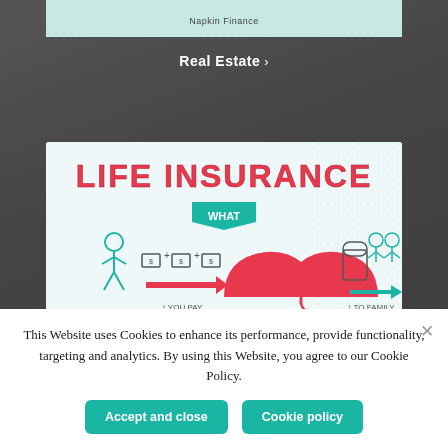[Figure (screenshot): Top portion of a Napkin Finance card showing 'Napkin Finance' watermark on a light teal/green background, partially cropped]
Real Estate ›
[Figure (infographic): Life Insurance infographic showing title 'LIFE INSURANCE', with 'WHAT' label on a teal banner, illustration of stick figure paying money (YOU PAY) going through a pink umbrella, leading to a tombstone and then to family (TO FAMILY)]
This Website uses Cookies to enhance its performance, provide functionality, targeting and analytics. By using this Website, you agree to our Cookie Policy.
Accept and close
Cookie policy